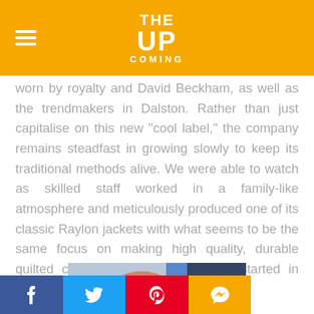THE UP COMING
worn by royalty and David Beckham, as well as the trendmakers in Dalston. Rather than just capitalise on this new “cool label,” the company remains steadfast in growing slowly to keep its traditional methods alive. We were able to watch as skilled staff worked in a family-like atmosphere and meticulously produced one of its classic Raylon jackets with what seems to be the same focus on making high quality, durable quilted clothing since the company started in 1969.
[Figure (photo): Close-up photo of a person wearing glasses working at a sewing machine, wearing a patterned pink/coral top]
f  (Twitter bird)  (Pinterest)  (Comment bubble)